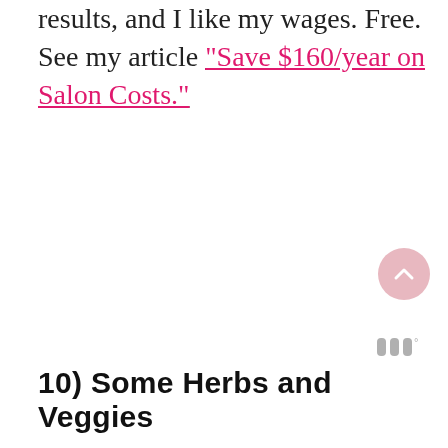results, and I like my wages. Free. See my article “Save $160/year on Salon Costs.”
[Figure (other): Pink circular scroll-to-top button with upward chevron arrow]
[Figure (logo): Small gray widget logo with three vertical bars and a degree symbol]
10) Some Herbs and Veggies